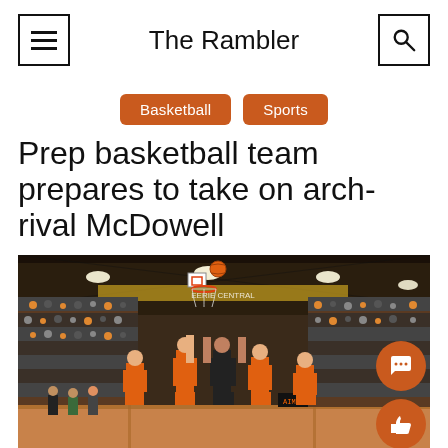The Rambler
Basketball  Sports
Prep basketball team prepares to take on arch-rival McDowell
[Figure (photo): Basketball game in a packed gymnasium, players in orange uniforms driving to the basket under the hoop, crowd filling the stands in the background.]